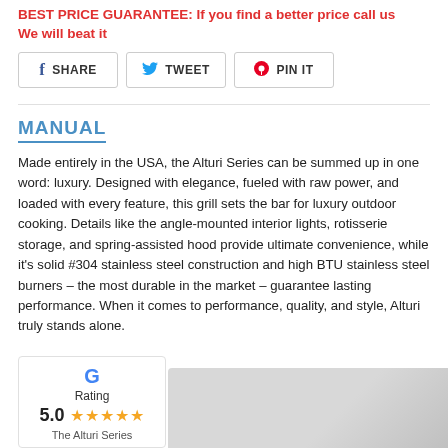BEST PRICE GUARANTEE: If you find a better price call us We will beat it
[Figure (infographic): Social share buttons: Facebook SHARE, Twitter TWEET, Pinterest PIN IT]
MANUAL
Made entirely in the USA, the Alturi Series can be summed up in one word: luxury. Designed with elegance, fueled with raw power, and loaded with every feature, this grill sets the bar for luxury outdoor cooking. Details like the angle-mounted interior lights, rotisserie storage, and spring-assisted hood provide ultimate convenience, while it's solid #304 stainless steel construction and high BTU stainless steel burners – the most durable in the market – guarantee lasting performance. When it comes to performance, quality, and style, Alturi truly stands alone.
[Figure (infographic): Google rating widget showing 5.0 stars with 5 gold stars and caption 'The Alturi Series']
[Figure (photo): Product photo of Alturi Series grill, partially visible]